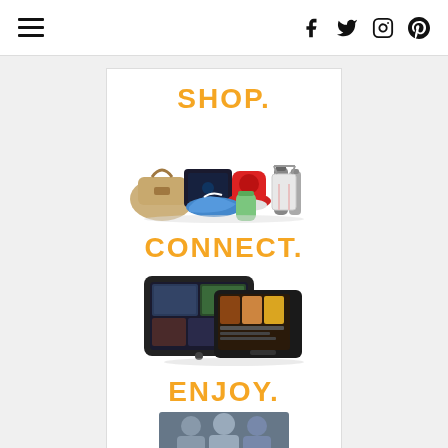[Figure (screenshot): Website header navigation bar with hamburger menu icon on left and social media icons (Facebook, Twitter, Instagram, Pinterest) on right]
[Figure (infographic): Advertisement card with three sections: SHOP. with product images (bag, gaming console, sneakers, mixer, thermos, shopping bags), CONNECT. with tablet/kindle devices, ENJOY. with people image below]